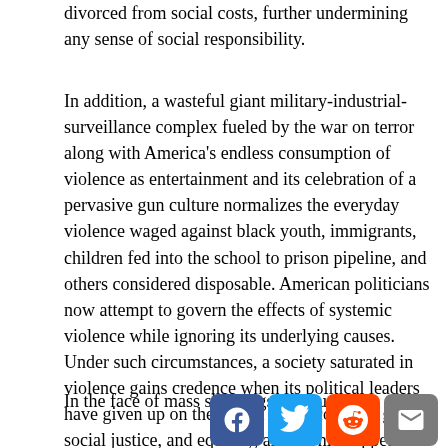divorced from social costs, further undermining any sense of social responsibility.
In addition, a wasteful giant military-industrial-surveillance complex fueled by the war on terror along with America's endless consumption of violence as entertainment and its celebration of a pervasive gun culture normalizes the everyday violence waged against black youth, immigrants, children fed into the school to prison pipeline, and others considered disposable. American politicians now attempt to govern the effects of systemic violence while ignoring its underlying causes. Under such circumstances, a society saturated in violence gains credence when its political leaders have given up on the notion of the common good, social justice, and equality, all of which appear to have become relics of history in the United States.
In the face of mass shootings, the pu[r]po[se of] cli[mate crisis and bio-crisis is]...